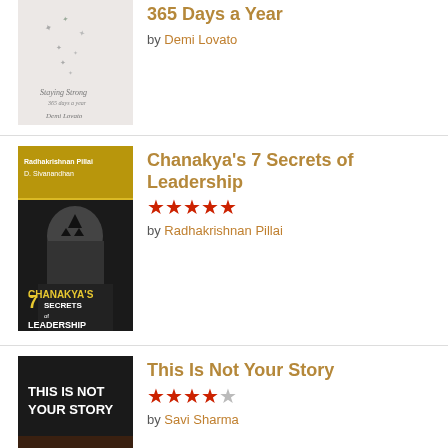[Figure (photo): Book cover of '365 Days a Year' by Demi Lovato — a soft monochrome image with birds and a figure, cursive title text]
365 Days a Year
by Demi Lovato
[Figure (photo): Book cover of Chanakya's 7 Secrets of Leadership by Radhakrishnan Pillai — dark cover with a bald man from behind, gold top banner]
Chanakya's 7 Secrets of Leadership
by Radhakrishnan Pillai
[Figure (photo): Book cover of 'This Is Not Your Story' by Savi Sharma — dark dramatic cover with white bold text and silhouettes]
This Is Not Your Story
by Savi Sharma